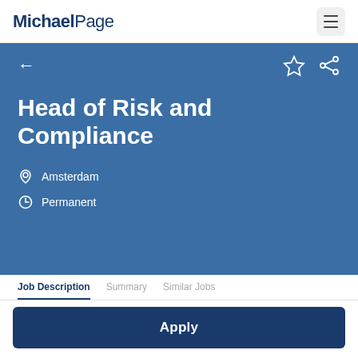MichaelPage
Head of Risk and Compliance
Amsterdam
Permanent
Job Description   Summary   Similar Jobs
Apply